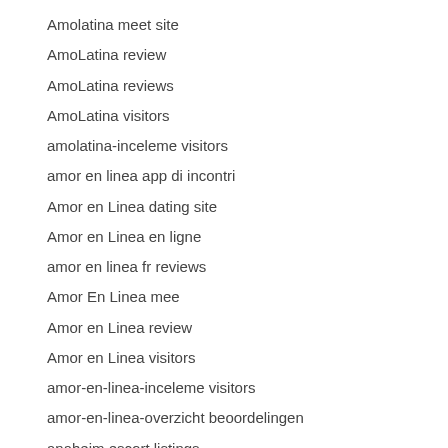Amolatina meet site
AmoLatina review
AmoLatina reviews
AmoLatina visitors
amolatina-inceleme visitors
amor en linea app di incontri
Amor en Linea dating site
Amor en Linea en ligne
amor en linea fr reviews
Amor En Linea mee
Amor en Linea review
Amor en Linea visitors
amor-en-linea-inceleme visitors
amor-en-linea-overzicht beoordelingen
anaheim escort listings